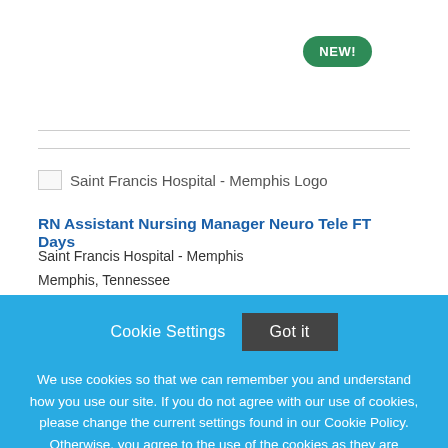[Figure (logo): Saint Francis Hospital - Memphis Logo (broken image placeholder)]
RN Assistant Nursing Manager Neuro Tele FT Days
Saint Francis Hospital - Memphis
Memphis, Tennessee
Cookie Settings   Got it

We use cookies so that we can remember you and understand how you use our site. If you do not agree with our use of cookies, please change the current settings found in our Cookie Policy. Otherwise, you agree to the use of the cookies as they are currently set.